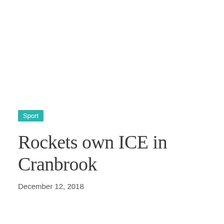Sport
Rockets own ICE in Cranbrook
December 12, 2018